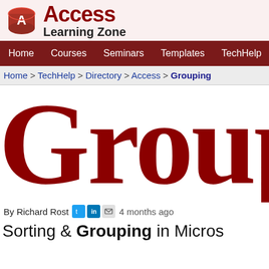[Figure (logo): Access Learning Zone logo with red database icon and 'Access Learning Zone' text]
Home  Courses  Seminars  Templates  TechHelp  Fast Tips  Forum
Home > TechHelp > Directory > Access > Grouping
Group
By Richard Rost  [Twitter] [LinkedIn] [Email]  4 months ago
Sorting & Grouping in Micros